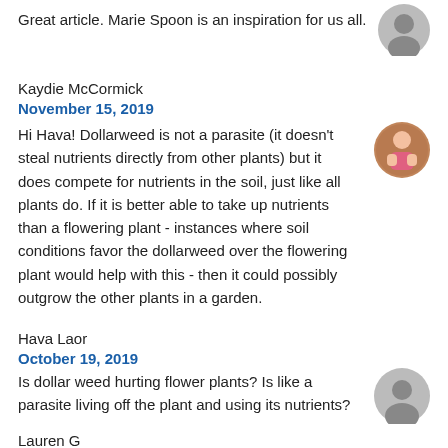Great article. Marie Spoon is an inspiration for us all.
Kaydie McCormick
November 15, 2019
Hi Hava! Dollarweed is not a parasite (it doesn't steal nutrients directly from other plants) but it does compete for nutrients in the soil, just like all plants do. If it is better able to take up nutrients than a flowering plant - instances where soil conditions favor the dollarweed over the flowering plant would help with this - then it could possibly outgrow the other plants in a garden.
Hava Laor
October 19, 2019
Is dollar weed hurting flower plants? Is like a parasite living off the plant and using its nutrients?
Lauren G